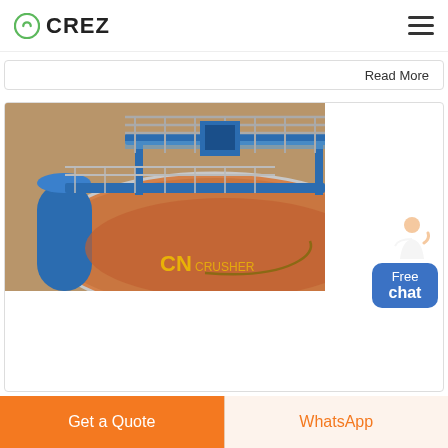CREZ
Read More
[Figure (photo): Industrial packing machine (YZ-200) on top of a large orange circular tank/clarifier, with blue metal framework, walkways with railings, and a blue cylindrical component visible. CN CRUSHER watermark visible.]
YZ-200 automatic packing machine (New) Products
Get a Quote
WhatsApp